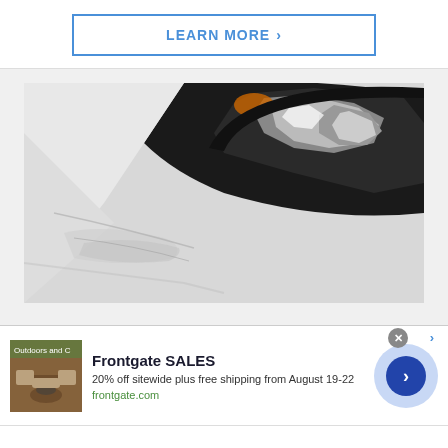[Figure (other): LEARN MORE button with blue border and chevron arrow]
[Figure (photo): Close-up photo of a white car bumper/hood near a black headlight housing, showing dents or damage on the white painted surface]
[Figure (infographic): Frontgate SALES advertisement banner with outdoor furniture thumbnail image, text '20% off sitewide plus free shipping from August 19-22', URL frontgate.com, close button, and blue circular CTA button with chevron]